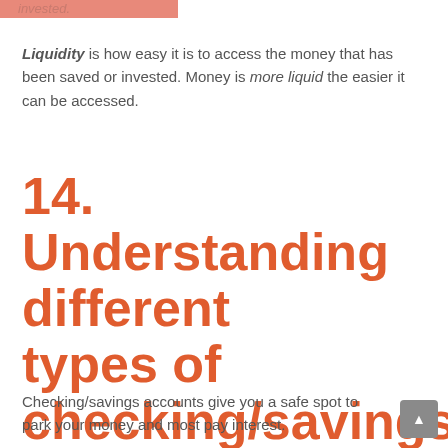invested.
Liquidity is how easy it is to access the money that has been saved or invested. Money is more liquid the easier it can be accessed.
14. Understanding different types of checking/savings accounts
Checking/savings accounts give you a safe spot to park your money and most pay interest.